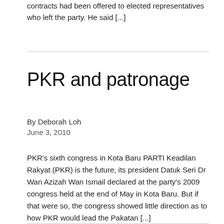contracts had been offered to elected representatives who left the party. He said [...]
PKR and patronage
By Deborah Loh
June 3, 2010
PKR's sixth congress in Kota Baru PARTI Keadilan Rakyat (PKR) is the future, its president Datuk Seri Dr Wan Azizah Wan Ismail declared at the party's 2009 congress held at the end of May in Kota Baru. But if that were so, the congress showed little direction as to how PKR would lead the Pakatan [...]